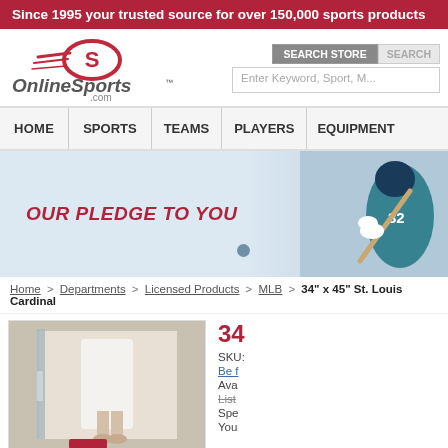Since 1995 your trusted source for over 150,000 sports products
[Figure (logo): OnlineSports.com logo with stylized S emblem and speed lines]
SEARCH STORE | SEARCH | Enter Keyword, Sport,
HOME | SPORTS | TEAMS | PLAYERS | EQUIPMENT
[Figure (photo): Hero banner with 'OUR PLEDGE TO YOU' text and a baseball batter in teal uniform #32]
Home > Departments > Licensed Products > MLB > 34" x 45" St. Louis Cardinal
[Figure (photo): Product photo showing bath/shower area with white towels]
34
SKU:
Be f
Ava
List
Spe
You